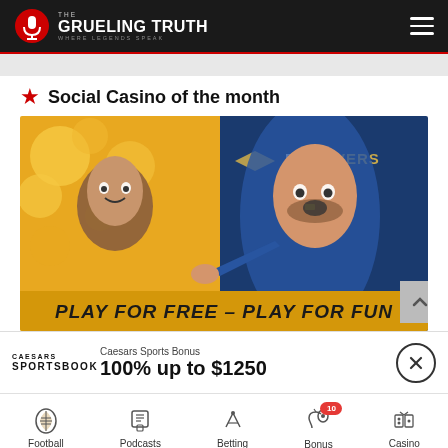THE GRUELING TRUTH - WHERE LEGENDS SPEAK
★ Social Casino of the month
[Figure (photo): BetRivers.net promotional banner showing two excited fans - a woman on a yellow coin background and a man pointing, with text 'PLAY FOR FREE - PLAY FOR FUN']
Caesars Sports Bonus
100% up to $1250
Football | Podcasts | Betting | Bonus 10 | Casino